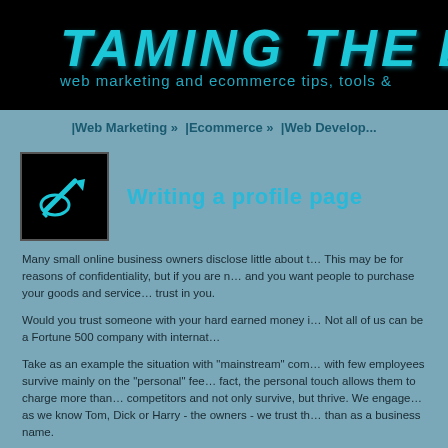TAMING THE BE...
web marketing and ecommerce tips, tools &
| Web Marketing » | Ecommerce » | Web Develop...
Writing a profile page
Many small online business owners disclose little about t... This may be for reasons of confidentiality, but if you are n... and you want people to purchase your goods and service... trust in you.
Would you trust someone with your hard earned money i... Not all of us can be a Fortune 500 company with internat...
Take as an example the situation with "mainstream" com... with few employees survive mainly on the "personal" fee... fact, the personal touch allows them to charge more than... competitors and not only survive, but thrive. We engage... as we know Tom, Dick or Harry - the owners - we trust th... than as a business name.
When I ran my mobile computer business and sold PC's,... already knew what type of computer they wanted. They k...